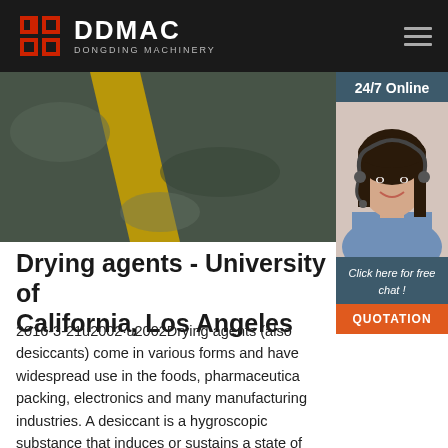DDMAC DONGDING MACHINERY
[Figure (photo): Industrial floor or machinery surface with yellow stripe, overhead view, dark tones]
[Figure (photo): 24/7 Online customer service representative, woman wearing headset, smiling, with 'Click here for free chat!' text and QUOTATION button]
Drying agents - University of California, Los Angeles
2016-3-21u2002·u2002Drying agents (also desiccants) come in various forms and have widespread use in the foods, pharmaceuticals, packing, electronics and many manufacturing industries. A desiccant is a hygroscopic substance that induces or sustains a state of dryness in its vicinity. Ideally, it is chemically stable and chemically inert (i.e., silica).